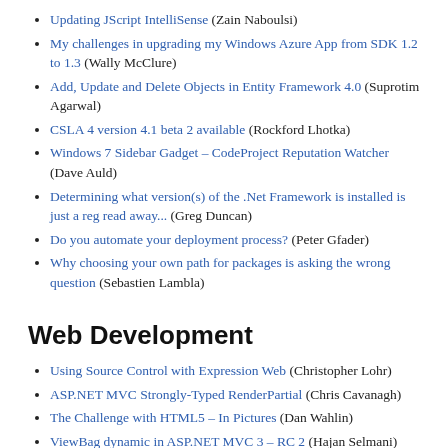Updating JScript IntelliSense (Zain Naboulsi)
My challenges in upgrading my Windows Azure App from SDK 1.2 to 1.3 (Wally McClure)
Add, Update and Delete Objects in Entity Framework 4.0 (Suprotim Agarwal)
CSLA 4 version 4.1 beta 2 available (Rockford Lhotka)
Windows 7 Sidebar Gadget – CodeProject Reputation Watcher (Dave Auld)
Determining what version(s) of the .Net Framework is installed is just a reg read away... (Greg Duncan)
Do you automate your deployment process? (Peter Gfader)
Why choosing your own path for packages is asking the wrong question (Sebastien Lambla)
Web Development
Using Source Control with Expression Web (Christopher Lohr)
ASP.NET MVC Strongly-Typed RenderPartial (Chris Cavanagh)
The Challenge with HTML5 – In Pictures (Dan Wahlin)
ViewBag dynamic in ASP.NET MVC 3 – RC 2 (Hajan Selmani)